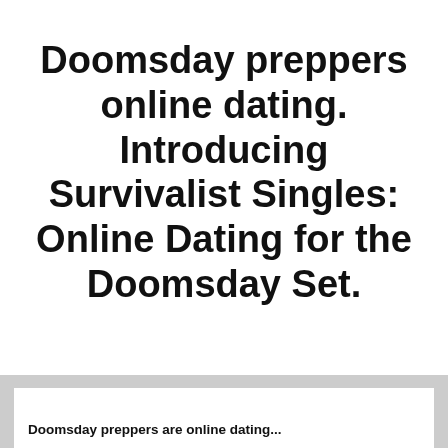Doomsday preppers online dating. Introducing Survivalist Singles: Online Dating for the Doomsday Set.
[Figure (illustration): A magic 8-ball styled icon with devil horns and a tail in red, showing the number 8 in white on a black ball, with a circular border]
Doomsday preppers are online dating...